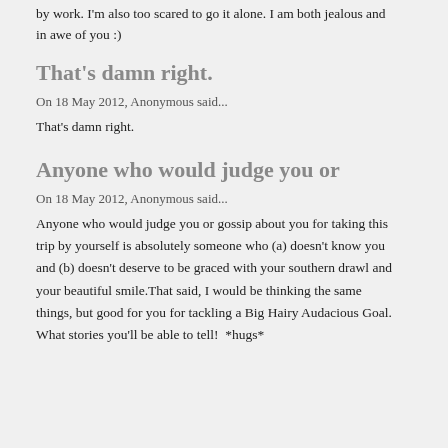by work. I'm also too scared to go it alone. I am both jealous and in awe of you :)
That's damn right.
On 18 May 2012, Anonymous said...
That's damn right.
Anyone who would judge you or
On 18 May 2012, Anonymous said...
Anyone who would judge you or gossip about you for taking this trip by yourself is absolutely someone who (a) doesn't know you and (b) doesn't deserve to be graced with your southern drawl and your beautiful smile.That said, I would be thinking the same things, but good for you for tackling a Big Hairy Audacious Goal.  What stories you'll be able to tell!  *hugs*